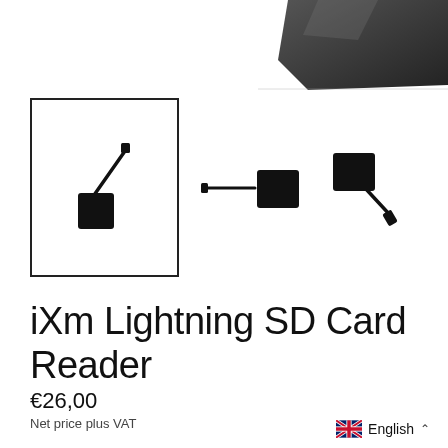[Figure (photo): Partial top view of a dark device (possibly a card reader or similar accessory) visible at top-right corner]
[Figure (photo): Three thumbnail images of the iXm Lightning SD Card Reader accessory. The first (selected, with border) shows the adapter at an angle. The second shows a side view. The third shows another angle view.]
iXm Lightning SD Card Reader
€26,00
Net price plus VAT
English